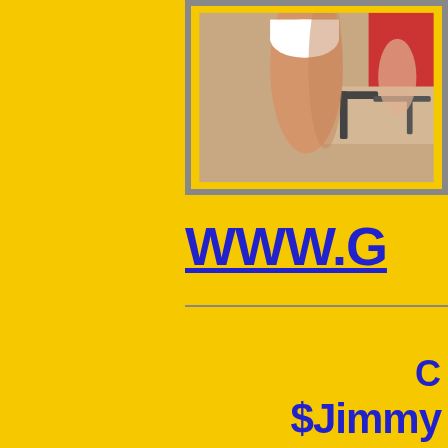[Figure (photo): Partial view of a person in white bikini bottom at a beach/pool setting with lounge chairs and pink/red building in background]
WWW.G
C
$Jimmy